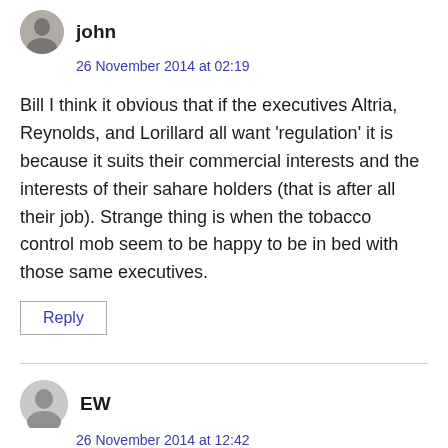john
26 November 2014 at 02:19
Bill I think it obvious that if the executives Altria, Reynolds, and Lorillard all want ‘regulation’ it is because it suits their commercial interests and the interests of their sahare holders (that is after all their job). Strange thing is when the tobacco control mob seem to be happy to be in bed with those same executives.
Reply
EW
26 November 2014 at 12:42